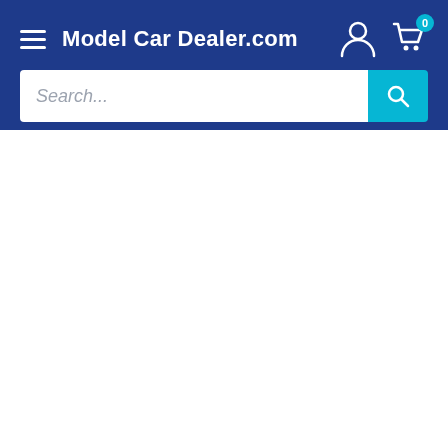[Figure (screenshot): Website header for Model Car Dealer.com showing a dark blue navigation bar with hamburger menu, site title, user account icon, shopping cart with badge showing 0, and a search bar with cyan search button]
Model Car Dealer.com